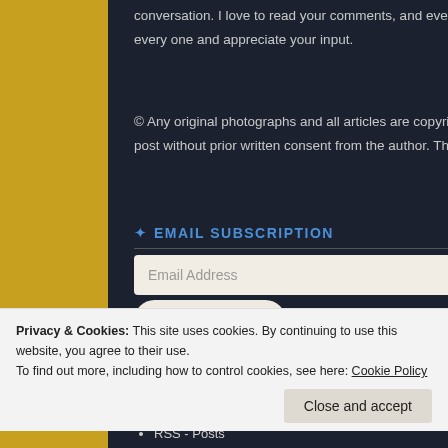conversation. I love to read your comments, and even if I can't always reply, please know I read every one and appreciate your input.
© Any original photographs and all articles are copyright Carol J. Garvin. Please don't use or re-post without prior written consent from the author. Thanks!
EMAIL SUBSCRIPTION
Email Address
Sign me up!
Privacy & Cookies: This site uses cookies. By continuing to use this website, you agree to their use.
To find out more, including how to control cookies, see here: Cookie Policy
Close and accept
In lat were fell. A miss
RSS - Posts